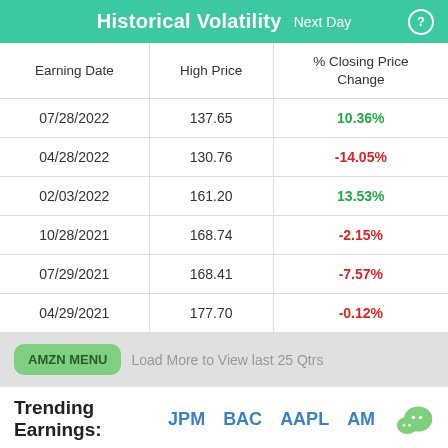Historical Volatility  Next Day
| Earning Date | High Price | % Closing Price Change |
| --- | --- | --- |
| 07/28/2022 | 137.65 | 10.36% |
| 04/28/2022 | 130.76 | -14.05% |
| 02/03/2022 | 161.20 | 13.53% |
| 10/28/2021 | 168.74 | -2.15% |
| 07/29/2021 | 168.41 | -7.57% |
| 04/29/2021 | 177.70 | -0.12% |
AMZN MENU
Load More to View last 25 Qtrs
Trending Earnings:  JPM  BAC  AAPL  AM
GOOGL  NFLX  TWTR  FB  MU  AAL